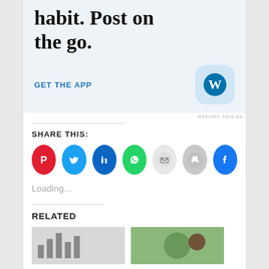[Figure (screenshot): WordPress app advertisement banner with text 'Build a writing habit. Post on the go.' and 'GET THE APP' call to action with WordPress logo icon on a light blue background]
REPORT THIS AD
SHARE THIS:
[Figure (infographic): Row of social share icon buttons: Pinterest (red), Twitter (blue), LinkedIn (dark blue), WhatsApp (green), Email (light gray), Print (gray), Facebook (blue)]
Loading...
RELATED
[Figure (photo): Two partial thumbnail images for related articles - left shows a chart/graph image, right shows a green smoothie or food image]